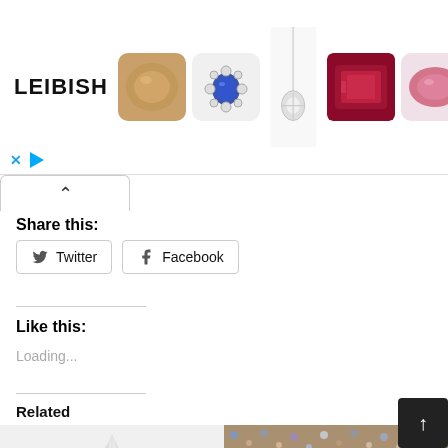[Figure (photo): Leibish jewelry advertisement banner showing logo text LEIBISH and five gemstone/jewelry images including a brown cushion diamond, blue sapphire flower ring, white gold pendant necklace, red rectangular gemstone, and pink oval gemstone. Below the banner are X and play button controls.]
Share this:
Twitter
Facebook
Like this:
Loading...
Related
[Figure (photo): Partial view of a modern glass skyscraper shot from below against white sky.]
[Figure (photo): Glittery multicolored sequin or gem texture in blue, gold, and brown tones.]